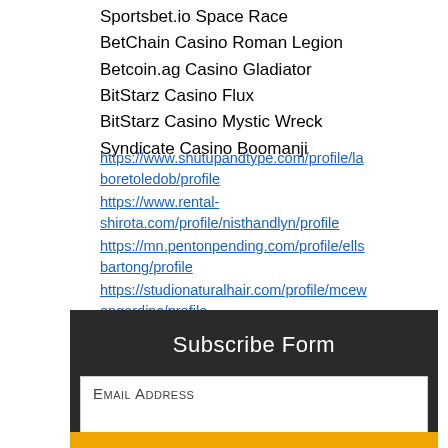Sportsbet.io Space Race
BetChain Casino Roman Legion
Betcoin.ag Casino Gladiator
BitStarz Casino Flux
BitStarz Casino Mystic Wreck
Syndicate Casino Boomanji
https://www.shutupandtype.com/profile/laboretoledob/profile
https://www.rental-shirota.com/profile/nisthandlyn/profile
https://mn.pentonpending.com/profile/ellsbartong/profile
https://studionaturalhair.com/profile/mcewengardinc/profile
Subscribe Form
Email Address